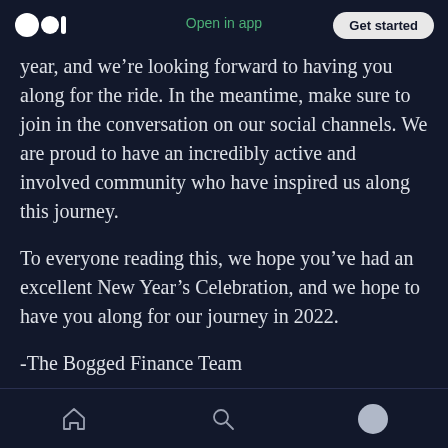Open in app | Get started
year, and we’re looking forward to having you along for the ride. In the meantime, make sure to join in the conversation on our social channels. We are proud to have an incredibly active and involved community who have inspired us along this journey.
To everyone reading this, we hope you’ve had an excellent New Year’s Celebration, and we hope to have you along for our journey in 2022.
-The Bogged Finance Team
[home] [search] [profile]